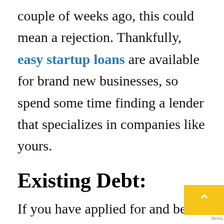couple of weeks ago, this could mean a rejection. Thankfully, easy startup loans are available for brand new businesses, so spend some time finding a lender that specializes in companies like yours.
Existing Debt:
If you have applied for and been accepted for business funding in the past that you are still in the process of repaying, this will also likely be taken into account by the lender that you are applying to this time around. In some cases, it is possible to borrow different lines of credit at the same time depending on your business'